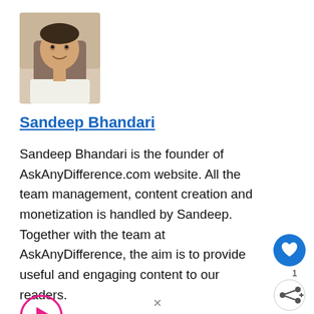[Figure (photo): Profile photo of Sandeep Bhandari — man in white shirt seated, smiling]
Sandeep Bhandari
Sandeep Bhandari is the founder of AskAnyDifference.com website. All the team management, content creation and monetization is handled by Sandeep. Together with the team at AskAnyDifference, the aim is to provide useful and engaging content to our readers.
[Figure (infographic): Pink circle play button icon]
[Figure (infographic): Blue circle heart/like button with count 1]
[Figure (infographic): White circle share button]
[Figure (photo): What's Next thumbnail image]
WHAT'S NEXT → post_title
Subscribe ▼